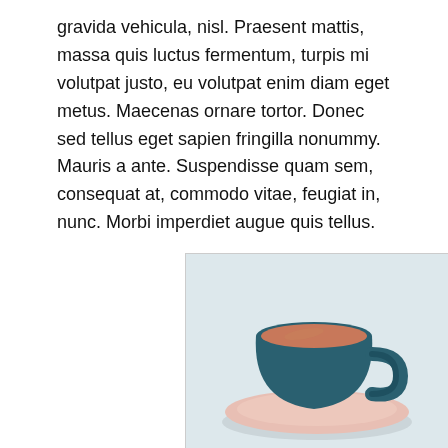gravida vehicula, nisl. Praesent mattis, massa quis luctus fermentum, turpis mi volutpat justo, eu volutpat enim diam eget metus. Maecenas ornare tortor. Donec sed tellus eget sapien fringilla nonummy. Mauris a ante. Suspendisse quam sem, consequat at, commodo vitae, feugiat in, nunc. Morbi imperdiet augue quis tellus.
[Figure (photo): A teal/dark blue coffee cup with coffee on a light pink saucer, photographed on a light blue-grey background.]
just an image
This is some text that will wrap around the image that sits on the